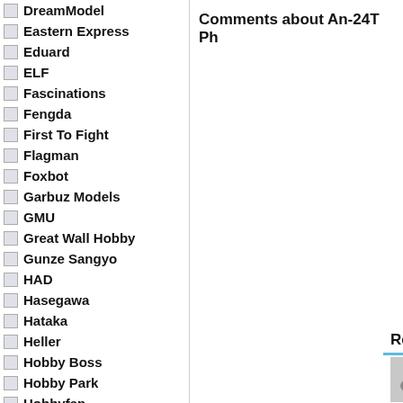DreamModel
Eastern Express
Eduard
ELF
Fascinations
Fengda
First To Fight
Flagman
Foxbot
Garbuz Models
GMU
Great Wall Hobby
Gunze Sangyo
HAD
Hasegawa
Hataka
Heller
Hobby Boss
Hobby Park
Hobbyfan
Homa
HONG
Humbrol
Hunor Product
IBG Models
Comments about An-24T Ph
Related products:
[Figure (photo): Two product thumbnail images at the bottom right]